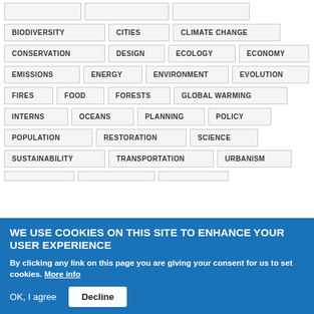BIODIVERSITY
CITIES
CLIMATE CHANGE
CONSERVATION
DESIGN
ECOLOGY
ECONOMY
EMISSIONS
ENERGY
ENVIRONMENT
EVOLUTION
FIRES
FOOD
FORESTS
GLOBAL WARMING
INTERNS
OCEANS
PLANNING
POLICY
POPULATION
RESTORATION
SCIENCE
SUSTAINABILITY
TRANSPORTATION
URBANISM
WE USE COOKIES ON THIS SITE TO ENHANCE YOUR USER EXPERIENCE
By clicking any link on this page you are giving your consent for us to set cookies. More info
OK, I agree
Decline